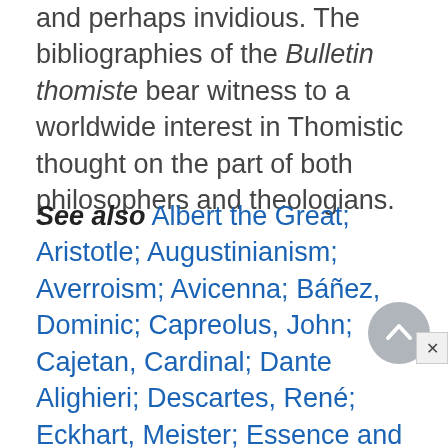and perhaps invidious. The bibliographies of the Bulletin thomiste bear witness to a worldwide interest in Thomistic thought on the part of both philosophers and theologians.
See also Albert the Great; Aristotle; Augustinianism; Averroism; Avicenna; Báñez, Dominic; Capreolus, John; Cajetan, Cardinal; Dante Alighieri; Descartes, René; Eckhart, Meister; Essence and Existence; Garrigou-Lagrange, Réginald Marie; Giles of Rome; Gilson, Étienne; Hegel, Georg